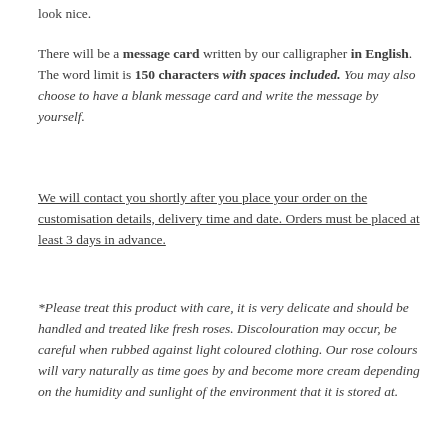look nice.
There will be a message card written by our calligrapher in English. The word limit is 150 characters with spaces included. You may also choose to have a blank message card and write the message by yourself.
We will contact you shortly after you place your order on the customisation details, delivery time and date. Orders must be placed at least 3 days in advance.
*Please treat this product with care, it is very delicate and should be handled and treated like fresh roses. Discolouration may occur, be careful when rubbed against light coloured clothing. Our rose colours will vary naturally as time goes by and become more cream depending on the humidity and sunlight of the environment that it is stored at.